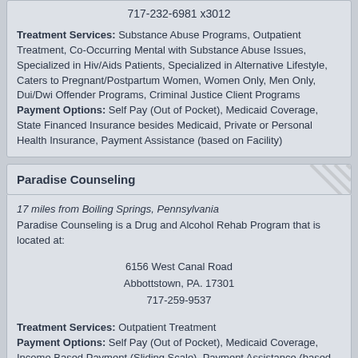717-232-6981 x3012
Treatment Services: Substance Abuse Programs, Outpatient Treatment, Co-Occurring Mental with Substance Abuse Issues, Specialized in Hiv/Aids Patients, Specialized in Alternative Lifestyle, Caters to Pregnant/Postpartum Women, Women Only, Men Only, Dui/Dwi Offender Programs, Criminal Justice Client Programs
Payment Options: Self Pay (Out of Pocket), Medicaid Coverage, State Financed Insurance besides Medicaid, Private or Personal Health Insurance, Payment Assistance (based on Facility)
Paradise Counseling
17 miles from Boiling Springs, Pennsylvania
Paradise Counseling is a Drug and Alcohol Rehab Program that is located at:

6156 West Canal Road
Abbottstown, PA. 17301
717-259-9537

Treatment Services: Outpatient Treatment
Payment Options: Self Pay (Out of Pocket), Medicaid Coverage, Income Based Payment (Sliding Scale), Payment Assistance (based on Facility)
Migliore Treatment Services